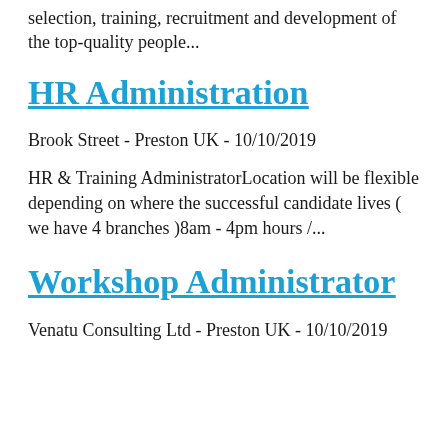selection, training, recruitment and development of the top-quality people...
HR Administration
Brook Street - Preston UK - 10/10/2019
HR & Training AdministratorLocation will be flexible depending on where the successful candidate lives ( we have 4 branches )8am - 4pm hours /...
Workshop Administrator
Venatu Consulting Ltd - Preston UK - 10/10/2019